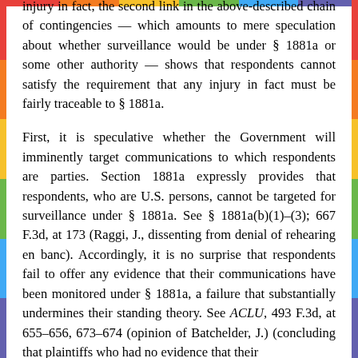injury in fact, the second link in the above-described chain of contingencies — which amounts to mere speculation about whether surveillance would be under § 1881a or some other authority — shows that respondents cannot satisfy the requirement that any injury in fact must be fairly traceable to § 1881a.
First, it is speculative whether the Government will imminently target communications to which respondents are parties. Section 1881a expressly provides that respondents, who are U.S. persons, cannot be targeted for surveillance under § 1881a. See § 1881a(b)(1)–(3); 667 F.3d, at 173 (Raggi, J., dissenting from denial of rehearing en banc). Accordingly, it is no surprise that respondents fail to offer any evidence that their communications have been monitored under § 1881a, a failure that substantially undermines their standing theory. See ACLU, 493 F.3d, at 655–656, 673–674 (opinion of Batchelder, J.) (concluding that plaintiffs who had no evidence that their